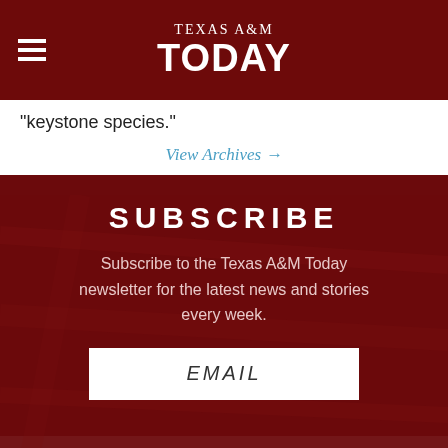TEXAS A&M TODAY
"keystone species."
View Archives →
SUBSCRIBE
Subscribe to the Texas A&M Today newsletter for the latest news and stories every week.
EMAIL